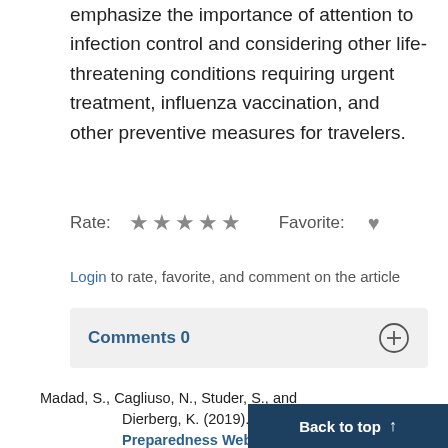emphasize the importance of attention to infection control and considering other life-threatening conditions requiring urgent treatment, influenza vaccination, and other preventive measures for travelers.
Rate: ★★★★★  Favorite: ♥
Login to rate, favorite, and comment on the article
Comments 0
Madad, S., Cagliuso, N., Studer, S., and Dierberg, K. (2019). Special Pathogen Preparedness Webi... Hospit...
Back to top ↑